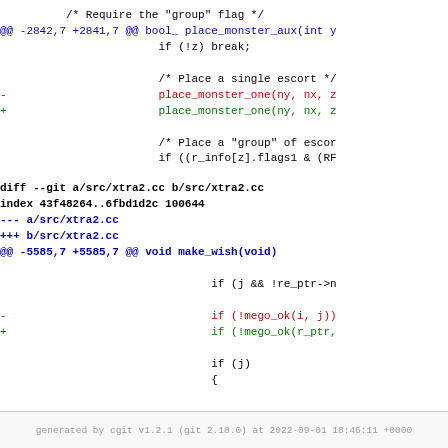/* Require the "group" flag */
@@ -2842,7 +2841,7 @@ bool_ place_monster_aux(int y
                                if (!z) break;

                                /* Place a single escort */
-                               place_monster_one(ny, nx, z
+                               place_monster_one(ny, nx, z

                                /* Place a "group" of escor
                                if ((r_info[z].flags1 & (RF
diff --git a/src/xtra2.cc b/src/xtra2.cc
index 43f48264..6fbd1d2c 100644
--- a/src/xtra2.cc
+++ b/src/xtra2.cc
@@ -5585,7 +5585,7 @@ void make_wish(void)

                                        if (j && !re_ptr->n

-                                       if (!mego_ok(i, j))
+                                       if (!mego_ok(r_ptr,

                                        if (j)
                                        {
generated by cgit v1.2.1 (git 2.18.0) at 2022-09-01 18:46:11 +0000